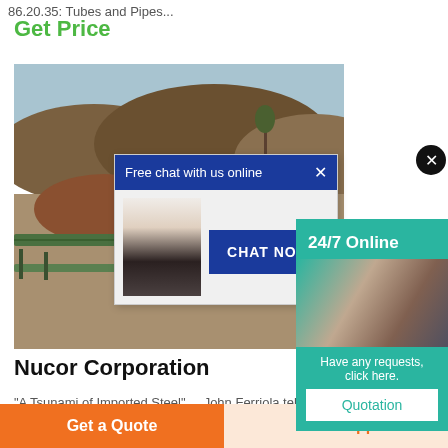86.20.35: Tubes and Pipes...
Get Price
[Figure (photo): Industrial mining/steel site with piles of ore and a conveyor belt structure, overlaid with a live chat popup showing a customer service representative and a 'CHAT NOW' button, and a teal '24/7 Online' widget on the right]
Nucor Corporation
“A Tsunami of Imported Steel” ... John Ferriola tell it's time to stem the tide of steel dumping. ... Nuco
Get a Quote
WhatsApp